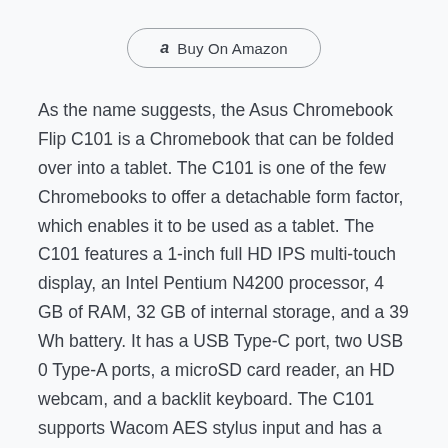[Figure (other): A rounded pill-shaped button with an Amazon logo icon and the text 'Buy On Amazon']
As the name suggests, the Asus Chromebook Flip C101 is a Chromebook that can be folded over into a tablet. The C101 is one of the few Chromebooks to offer a detachable form factor, which enables it to be used as a tablet. The C101 features a 1-inch full HD IPS multi-touch display, an Intel Pentium N4200 processor, 4 GB of RAM, 32 GB of internal storage, and a 39 Wh battery. It has a USB Type-C port, two USB 0 Type-A ports, a microSD card reader, an HD webcam, and a backlit keyboard. The C101 supports Wacom AES stylus input and has a fast-charging feature that enables it.